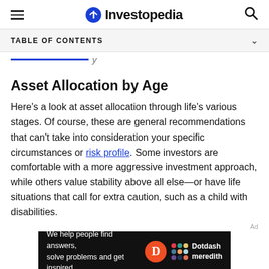Investopedia
TABLE OF CONTENTS
Asset Allocation by Age
Here's a look at asset allocation through life's various stages. Of course, these are general recommendations that can't take into consideration your specific circumstances or risk profile. Some investors are comfortable with a more aggressive investment approach, while others value stability above all else—or have life situations that call for extra caution, such as a child with disabilities.
[Figure (other): Dotdash Meredith advertisement banner: 'We help people find answers, solve problems and get inspired.']